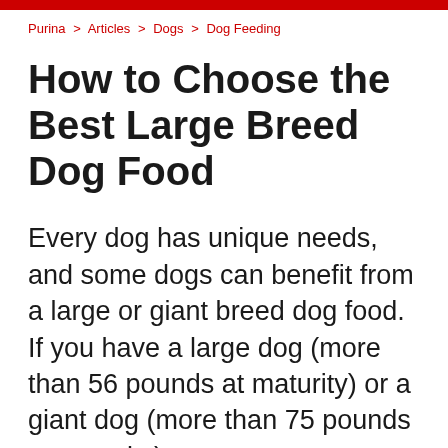Purina > Articles > Dogs > Dog Feeding
How to Choose the Best Large Breed Dog Food
Every dog has unique needs, and some dogs can benefit from a large or giant breed dog food. If you have a large dog (more than 56 pounds at maturity) or a giant dog (more than 75 pounds at maturity), you may want to look into feeding him a large